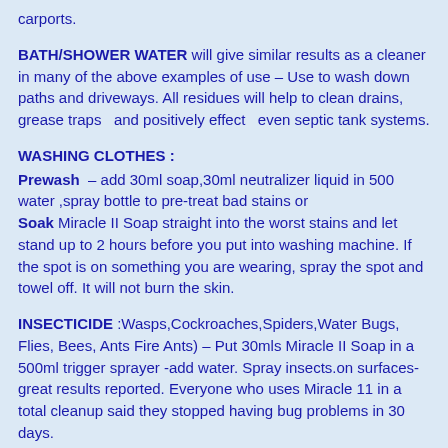carports.
BATH/SHOWER WATER will give similar results as a cleaner in many of the above examples of use – Use to wash down paths and driveways. All residues will help to clean drains, grease traps  and positively effect  even septic tank systems.
WASHING CLOTHES :
Prewash  – add 30ml soap,30ml neutralizer liquid in 500 water ,spray bottle to pre-treat bad stains or
Soak Miracle II Soap straight into the worst stains and let stand up to 2 hours before you put into washing machine. If the spot is on something you are wearing, spray the spot and towel off. It will not burn the skin.
INSECTICIDE :Wasps,Cockroaches,Spiders,Water Bugs, Flies, Bees, Ants Fire Ants) – Put 30mls Miracle II Soap in a 500ml trigger sprayer -add water. Spray insects.on surfaces- great results reported. Everyone who uses Miracle 11 in a total cleanup said they stopped having bug problems in 30 days.